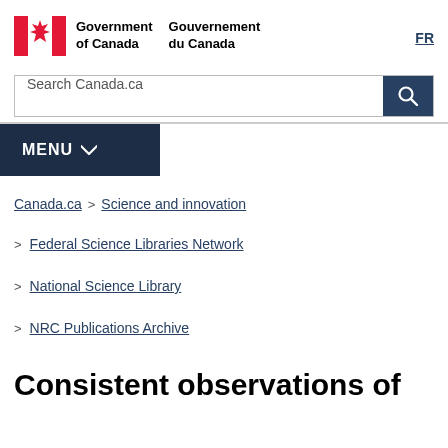Government of Canada | Gouvernement du Canada | FR
Search Canada.ca
[Figure (logo): Government of Canada logo with Canadian flag maple leaf symbol and bilingual text: Government of Canada / Gouvernement du Canada]
MENU
Canada.ca > Science and innovation
> Federal Science Libraries Network
> National Science Library
> NRC Publications Archive
Consistent observations of